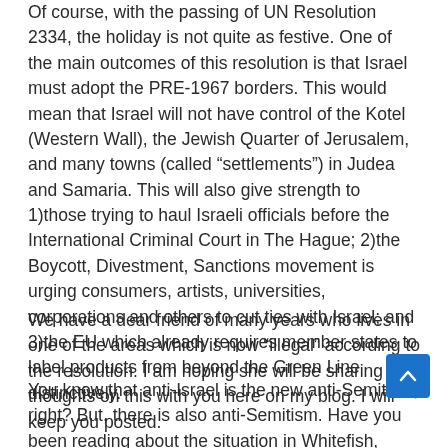Of course, with the passing of UN Resolution 2334, the holiday is not quite as festive.  One of the main outcomes of this resolution is that Israel must adopt the PRE-1967 borders. This would mean that  Israel will not have control of the Kotel (Western Wall), the Jewish Quarter of Jerusalem, and many towns (called “settlements”) in Judea and Samaria.  This will also give strength to 1)those trying to haul Israeli officials before the International Criminal Court in The Hague; 2)the Boycott, Divestment, Sanctions movement is urging consumers, artists, universities, corporations and others to cut ties with Israel; and 3)the EU which already requires member states to label products from beyond the Green Line distinctively.
We have a dear friend of many years who lives in one of the areas which is now “illegal” according to the resolution.  I am hoping she will be sharing her thoughts on this with you here on my blog.  I will keep you posted.
You know that anti-Israel is the new anti-Semitism, right?  But, there is also anti-Semitism.  Have you been reading about the situation in Whitefish, Montana?  There, a neo-white supremacist group is calling for an armed march